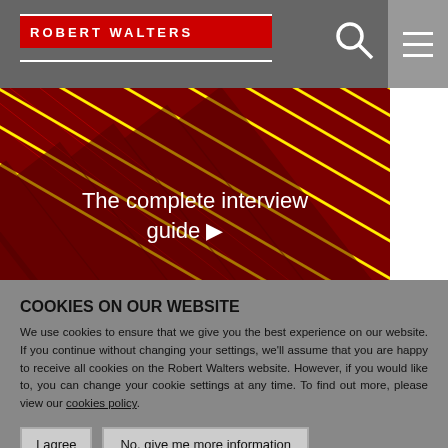ROBERT WALTERS
[Figure (photo): Hero image showing diagonal neon yellow and red light tubes/strips against a dark red background, with overlaid text 'The complete interview guide' and a right-pointing arrow]
COOKIES ON OUR WEBSITE
We use cookies to ensure that we give you the best experience on our website. If you continue without changing your settings, we'll assume that you are happy to receive all cookies on the Robert Walters website. However, if you would like to, you can change your cookie settings at any time. To find out more, please view our cookies policy.
I agree
No, give me more information